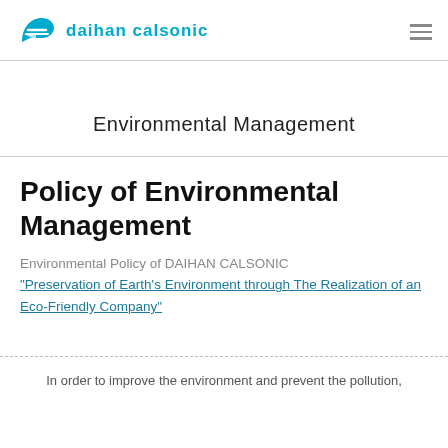DAIHAN CALSONIC
Environmental Management
Policy of Environmental Management
Environmental Policy of DAIHAN CALSONIC
"Preservation of Earth’s Environment through The Realization of an Eco-Friendly Company"
In order to improve the environment and prevent the pollution,